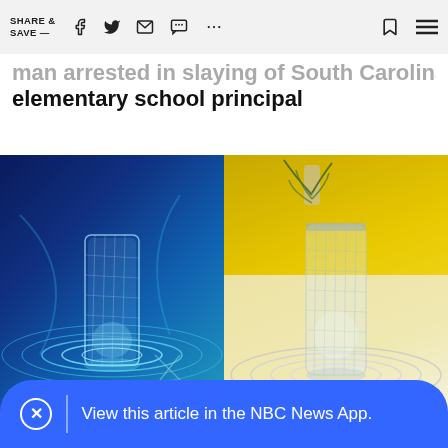SHARE & SAVE —
man arrested in slaying of South Carolina elementary school principal
[Figure (photo): Two product photos side by side of crystal/diamond-cut cylindrical table lamps. Left: lamp glowing blue on a dark blue background with light ripple effect. Right: lamp in clear/white light on a yellow fabric background with white ripple circle beneath it, with a small potted plant in background.]
View this article in the NBC News App.